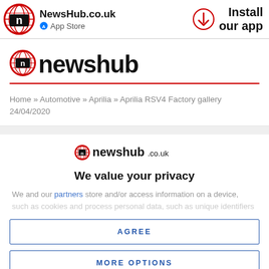NewsHub.co.uk | App Store | Install our app
[Figure (logo): Newshub logo — large red globe with letter n]
Home » Automotive » Aprilia » Aprilia RSV4 Factory gallery 24/04/2020
[Figure (logo): Newshub.co.uk privacy modal logo]
We value your privacy
We and our partners store and/or access information on a device,
such as cookies and process personal data, such as unique identifiers
AGREE
MORE OPTIONS